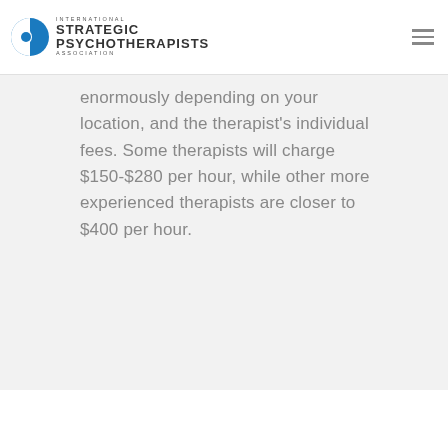[Figure (logo): International Strategic Psychotherapists Association logo with blue circular icon and text]
enormously depending on your location, and the therapist's individual fees. Some therapists will charge $150-$280 per hour, while other more experienced therapists are closer to $400 per hour.